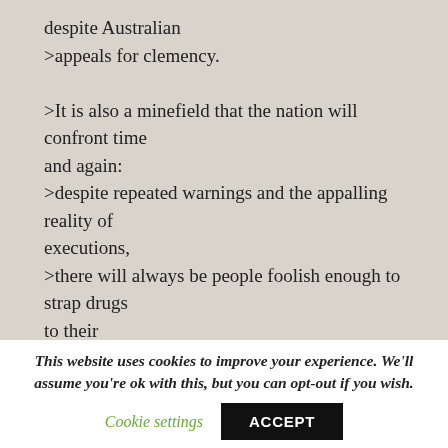despite Australian >appeals for clemency.

>It is also a minefield that the nation will confront time and again:
>despite repeated warnings and the appalling reality of executions,
>there will always be people foolish enough to strap drugs to their
>bodies or conceal it in their luggage.

>Almost all will pass through Southeast Asia, the source of most of
This website uses cookies to improve your experience. We'll assume you're ok with this, but you can opt-out if you wish.
Cookie settings   ACCEPT